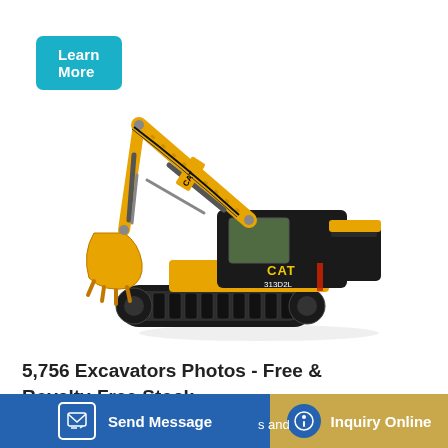Learn More
[Figure (photo): CAT 313D2L excavator shown in profile view on white background, with yellow boom and arm, black cab and undercarriage with tracks]
5,756 Excavators Photos - Free & Royalty-Free Stock ...
Send Message
Inquiry Online